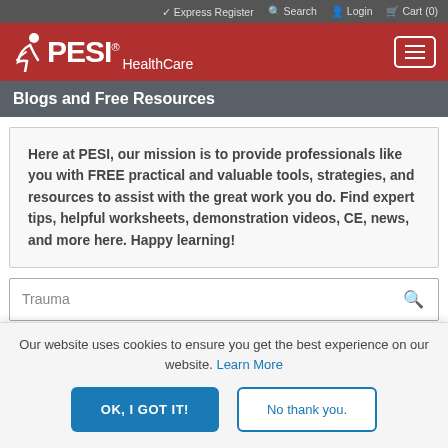✓ Express Register  🔍 Search  👤 Login  🛒 Cart (0)
[Figure (logo): PESI HealthCare logo on red background with hamburger menu icon]
Blogs and Free Resources
Here at PESI, our mission is to provide professionals like you with FREE practical and valuable tools, strategies, and resources to assist with the great work you do. Find expert tips, helpful worksheets, demonstration videos, CE, news, and more here. Happy learning!
Trauma [search box]
Our website uses cookies to ensure you get the best experience on our website. Learn More
OK, I GOT IT!  No thank you.